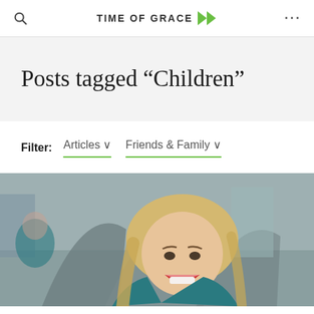TIME OF GRACE
Posts tagged “Children”
Filter: Articles ∨ Friends & Family ∨
[Figure (photo): A smiling young woman with long blonde hair laughing outdoors, with an architectural background (bridge arches and buildings visible).]